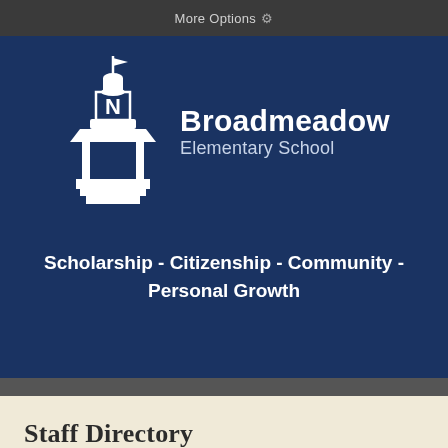More Options ⚙
[Figure (logo): Broadmeadow Elementary School logo — white cupola/bell tower with N letter, on navy blue background, with school name text]
Scholarship - Citizenship - Community - Personal Growth
Staff Directory